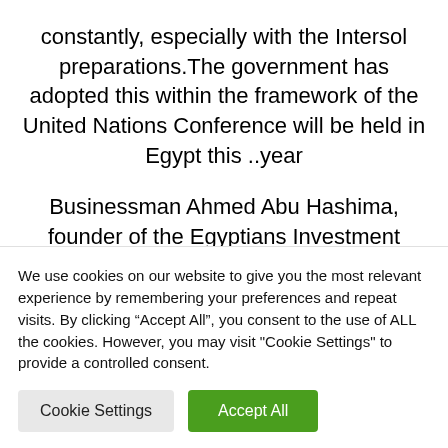constantly, especially with the Intersol preparations.The government has adopted this within the framework of the United Nations Conference will be held in Egypt this ..year
Businessman Ahmed Abu Hashima, founder of the Egyptians Investment Group, expressed his gratitude and appreciation to General Abdel Moneim Al-Terras, Head of the
We use cookies on our website to give you the most relevant experience by remembering your preferences and repeat visits. By clicking “Accept All”, you consent to the use of ALL the cookies. However, you may visit "Cookie Settings" to provide a controlled consent.